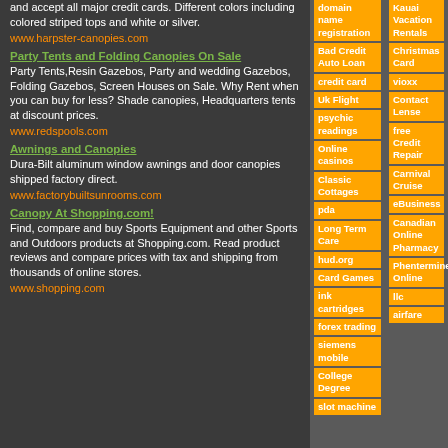and accept all major credit cards. Different colors including colored striped tops and white or silver.
www.harpster-canopies.com
Party Tents and Folding Canopies On Sale
Party Tents,Resin Gazebos, Party and wedding Gazebos, Folding Gazebos, Screen Houses on Sale. Why Rent when you can buy for less? Shade canopies, Headquarters tents at discount prices.
www.redspools.com
Awnings and Canopies
Dura-Bilt aluminum window awnings and door canopies shipped factory direct.
www.factorybuiltsunrooms.com
Canopy At Shopping.com!
Find, compare and buy Sports Equipment and other Sports and Outdoors products at Shopping.com. Read product reviews and compare prices with tax and shipping from thousands of online stores.
www.shopping.com
domain name registration
Bad Credit Auto Loan
credit card
Uk Flight
psychic readings
Online casinos
Classic Cottages
pda
Long Term Care
hud.org
Card Games
ink cartridges
forex trading
siemens mobile
College Degree
slot machine
Kauai Vacation Rentals
Christmas Card
vioxx
Contact Lense
free Credit Repair
Carnival Cruise
eBusiness
Canadian Online Pharmacy
Phentermine Online
llc
airfare